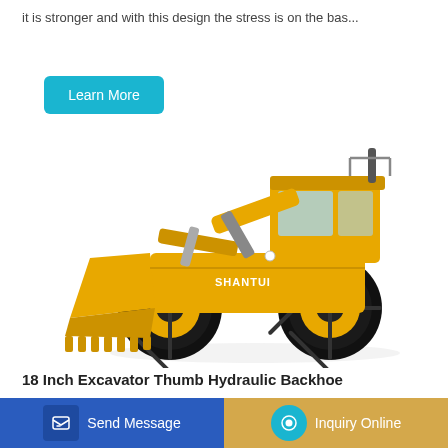it is stronger and with this design the stress is on the bas...
[Figure (illustration): A yellow Shantui wheel loader (front loader) with large black tires and a bucket attachment, on white background]
18 Inch Excavator Thumb Hydraulic Backhoe
Send Message
Inquiry Online